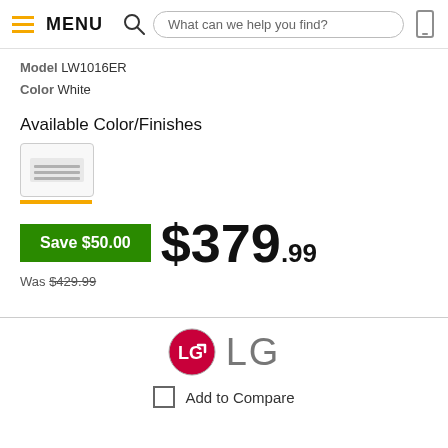MENU | What can we help you find?
Model LW1016ER
Color White
Available Color/Finishes
[Figure (photo): White air conditioner color/finish thumbnail with yellow underline indicator]
Save $50.00  $379.99
Was $429.99
[Figure (logo): LG logo — red circle with LG text, followed by LG in large gray letters]
Add to Compare